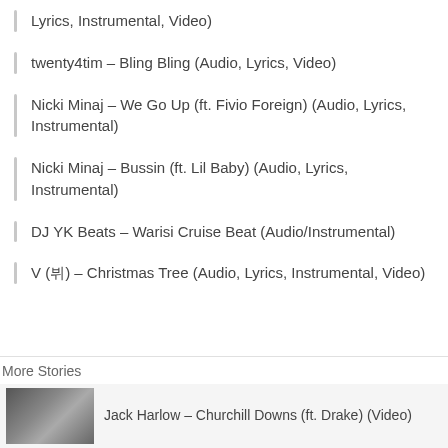Lyrics, Instrumental, Video)
twenty4tim – Bling Bling (Audio, Lyrics, Video)
Nicki Minaj – We Go Up (ft. Fivio Foreign) (Audio, Lyrics, Instrumental)
Nicki Minaj – Bussin (ft. Lil Baby) (Audio, Lyrics, Instrumental)
DJ YK Beats – Warisi Cruise Beat (Audio/Instrumental)
V (뷔) – Christmas Tree (Audio, Lyrics, Instrumental, Video)
More Stories
Jack Harlow – Churchill Downs (ft. Drake) (Video)